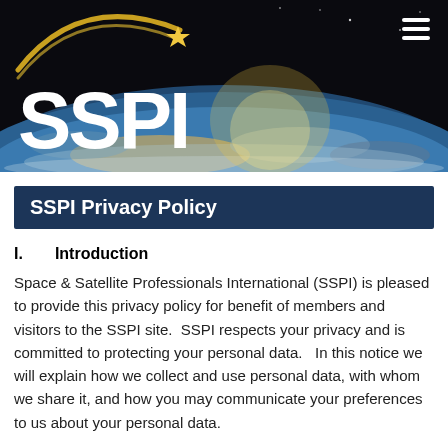[Figure (photo): SSPI website header banner showing Earth from space with SSPI logo in white and gold on a dark background, with a hamburger menu icon in the top right.]
SSPI Privacy Policy
I.    Introduction
Space & Satellite Professionals International (SSPI) is pleased to provide this privacy policy for benefit of members and visitors to the SSPI site.  SSPI respects your privacy and is committed to protecting your personal data.   In this notice we will explain how we collect and use personal data, with whom we share it, and how you may communicate your preferences to us about your personal data.